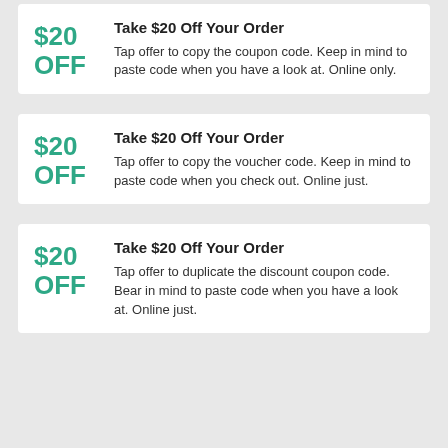Take $20 Off Your Order
$20 OFF
Tap offer to copy the coupon code. Keep in mind to paste code when you have a look at. Online only.
Take $20 Off Your Order
$20 OFF
Tap offer to copy the voucher code. Keep in mind to paste code when you check out. Online just.
Take $20 Off Your Order
$20 OFF
Tap offer to duplicate the discount coupon code. Bear in mind to paste code when you have a look at. Online just.